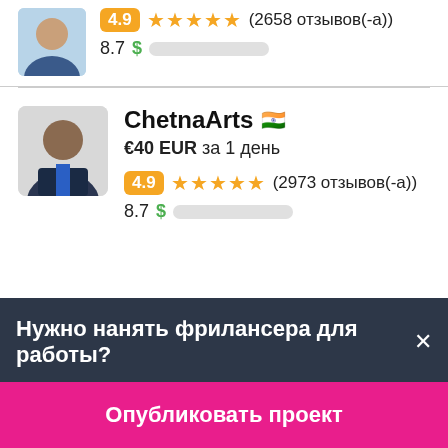4.9 ★★★★★ (2658 отзывов(-а))
8.7 $ ██████████
ChetnaArts 🇮🇳
€40 EUR за 1 день
4.9 ★★★★★ (2973 отзывов(-а))
8.7 $ ██████████
Нужно нанять фрилансера для работы?✕
Опубликовать проект